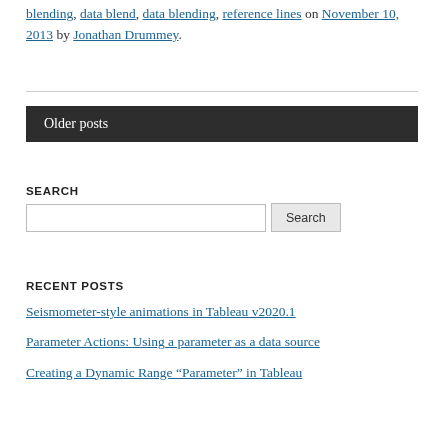blending, data blend, data blending, reference lines on November 10, 2013 by Jonathan Drummey.
Older posts
SEARCH
RECENT POSTS
Seismometer-style animations in Tableau v2020.1
Parameter Actions: Using a parameter as a data source
Creating a Dynamic Range “Parameter” in Tableau